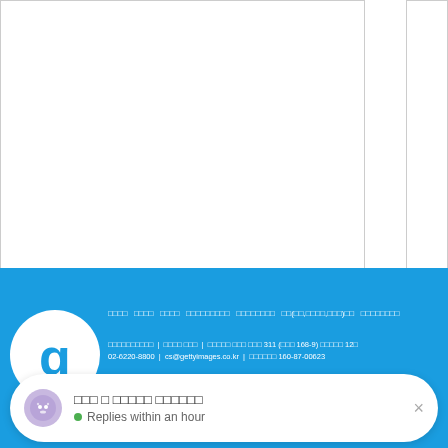[Figure (photo): Two image placeholder boxes (white rectangles with borders) side by side at the top of the page]
2018-04-02
□□□□□
(35)
[Figure (screenshot): Blue footer section with Getty Images logo (white circle with blue 'g'), Korean navigation links, contact info, and a chat bubble overlay showing Korean text and 'Replies within an hour']